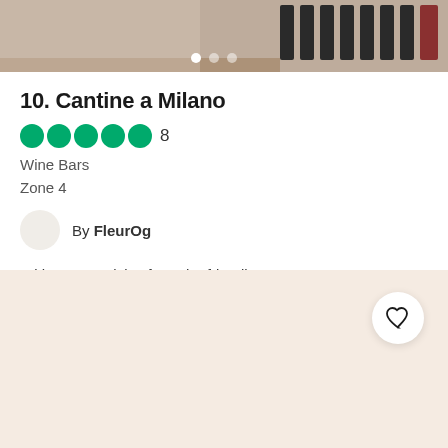[Figure (photo): Photo banner of a wine shop/bar interior showing shelves with wine bottles, with three navigation dots at the bottom]
10. Cantine a Milano
8 (rating: 5 green circles)
Wine Bars
Zone 4
By FleurOg
With expert advice from the friendly owners, you can get yourself a wonderful bottle (or 2) of wine or champagne made...
[Figure (illustration): Beige/cream colored bottom section with a heart/favorite button in top right corner]